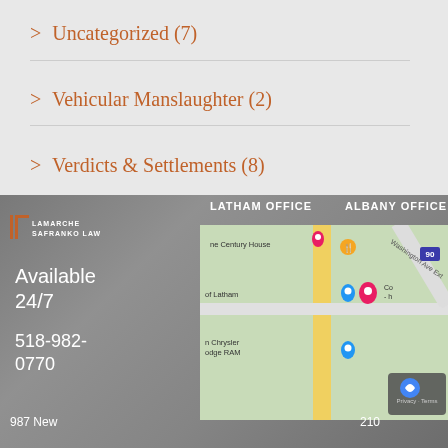> Uncategorized (7)
> Vehicular Manslaughter (2)
> Verdicts & Settlements (8)
[Figure (screenshot): LaMarche Safranko Law firm footer with logo, availability (24/7), phone number (518-982-0770), Latham Office and Albany Office headings, and an embedded Google Maps screenshot showing the Latham area.]
LATHAM OFFICE
ALBANY OFFICE
Available 24/7
518-982-0770
987 New
210